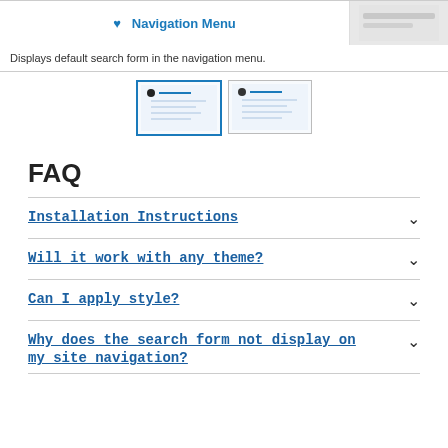[Figure (screenshot): Screenshot of navigation menu plugin showing a heart icon and 'Navigation Menu' title on the left, and a gray panel on the right.]
Displays default search form in the navigation menu.
[Figure (screenshot): Two thumbnail screenshots of the plugin interface side by side.]
FAQ
Installation Instructions
Will it work with any theme?
Can I apply style?
Why does the search form not display on my site navigation?